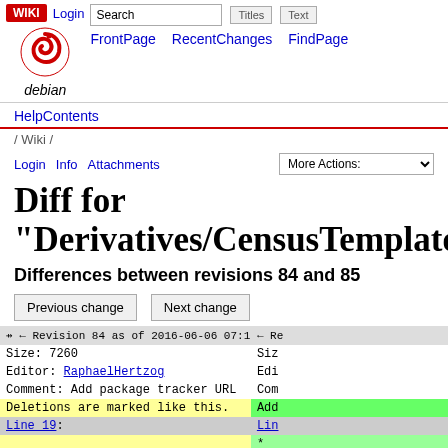WIKI | Login | Search | Titles | Text | FrontPage | RecentChanges | FindPage
[Figure (logo): Debian swirl logo with 'debian' text below]
HelpContents
/ Wiki /
Login   Info   Attachments   More Actions:
Diff for "Derivatives/CensusTemplate"
Differences between revisions 84 and 85
Previous change   Next change
| Revision 84 (left) | Revision 85 (right) |
| --- | --- |
| ← ← Revision 84 as of 2016-06-06 07:12:05 → | ← Re... |
| Size: 7260 | Siz... |
| Editor: RaphaelHertzog | Edi... |
| Comment: Add package tracker URL | Com... |
| Deletions are marked like this. | Additions are marked like this. |
| Line 19: | Lin... |
| * | * |